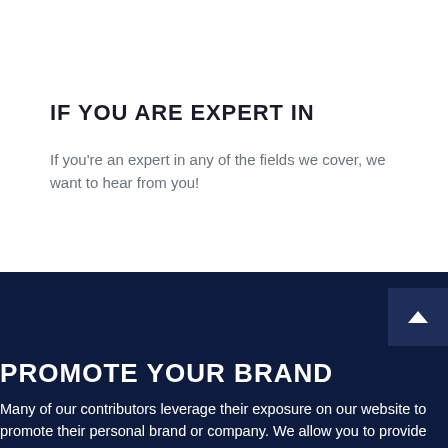IF YOU ARE EXPERT IN
If you're an expert in any of the fields we cover, we want to hear from you!
PROMOTE YOUR BRAND
Many of our contributors leverage their exposure on our website to promote their personal brand or company. We allow you to provide an author bio that will appear below your article, where you can